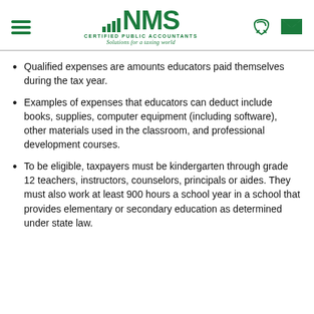NMS Certified Public Accountants — Solutions for a taxing world
Qualified expenses are amounts educators paid themselves during the tax year.
Examples of expenses that educators can deduct include books, supplies, computer equipment (including software), other materials used in the classroom, and professional development courses.
To be eligible, taxpayers must be kindergarten through grade 12 teachers, instructors, counselors, principals or aides. They must also work at least 900 hours a school year in a school that provides elementary or secondary education as determined under state law.